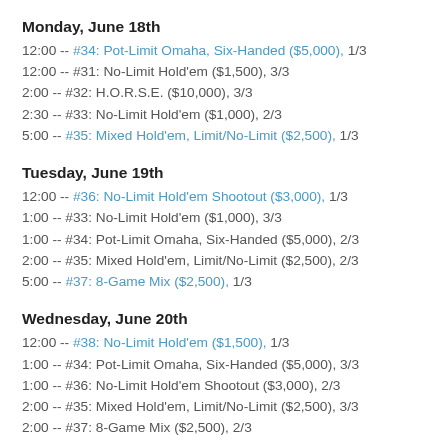Monday, June 18th
12:00 -- #34: Pot-Limit Omaha, Six-Handed ($5,000), 1/3
12:00 -- #31: No-Limit Hold'em ($1,500), 3/3
2:00 -- #32: H.O.R.S.E. ($10,000), 3/3
2:30 -- #33: No-Limit Hold'em ($1,000), 2/3
5:00 -- #35: Mixed Hold'em, Limit/No-Limit ($2,500), 1/3
Tuesday, June 19th
12:00 -- #36: No-Limit Hold'em Shootout ($3,000), 1/3
1:00 -- #33: No-Limit Hold'em ($1,000), 3/3
1:00 -- #34: Pot-Limit Omaha, Six-Handed ($5,000), 2/3
2:00 -- #35: Mixed Hold'em, Limit/No-Limit ($2,500), 2/3
5:00 -- #37: 8-Game Mix ($2,500), 1/3
Wednesday, June 20th
12:00 -- #38: No-Limit Hold'em ($1,500), 1/3
1:00 -- #34: Pot-Limit Omaha, Six-Handed ($5,000), 3/3
1:00 -- #36: No-Limit Hold'em Shootout ($3,000), 2/3
2:00 -- #35: Mixed Hold'em, Limit/No-Limit ($2,500), 3/3
2:00 -- #37: 8-Game Mix ($2,500), 2/3